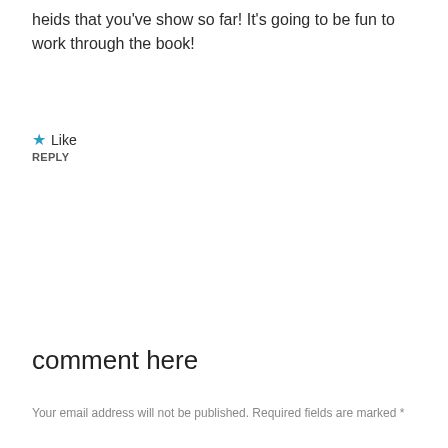heids that you've show so far! It's going to be fun to work through the book!
★ Like
REPLY
comment here
Your email address will not be published. Required fields are marked *